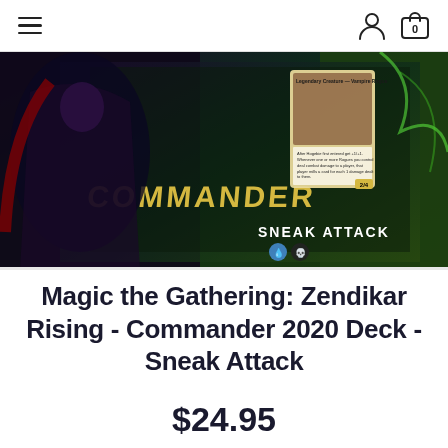Navigation header with hamburger menu and account/cart icons
[Figure (photo): Magic the Gathering: Zendikar Rising Commander 2020 Sneak Attack deck box product photo showing a dark fantasy art box with 'COMMANDER' and 'SNEAK ATTACK' text and mana symbols]
Magic the Gathering: Zendikar Rising - Commander 2020 Deck - Sneak Attack
$24.95